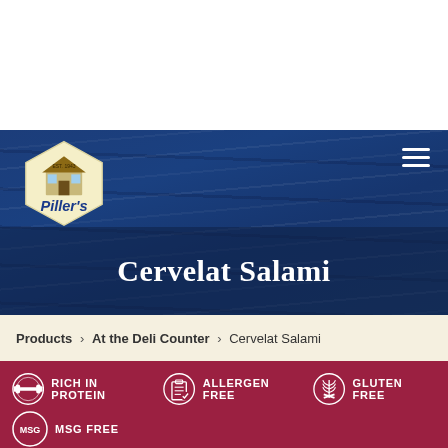[Figure (logo): Piller's brand logo — hexagonal cream/beige shape with house illustration and 'Piller's' text in blue, on blue wood-grain textured banner header]
Cervelat Salami
Products > At the Deli Counter > Cervelat Salami
RICH IN PROTEIN
ALLERGEN FREE
GLUTEN FREE
MSG FREE